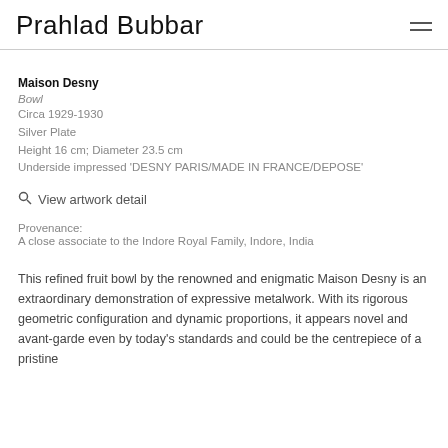Prahlad Bubbar
Maison Desny
Bowl
Circa 1929-1930
Silver Plate
Height 16 cm; Diameter 23.5 cm
Underside impressed 'DESNY PARIS/MADE IN FRANCE/DEPOSE'
View artwork detail
Provenance:
A close associate to the Indore Royal Family, Indore, India
This refined fruit bowl by the renowned and enigmatic Maison Desny is an extraordinary demonstration of expressive metalwork. With its rigorous geometric configuration and dynamic proportions, it appears novel and avant-garde even by today's standards and could be the centrepiece of a pristine